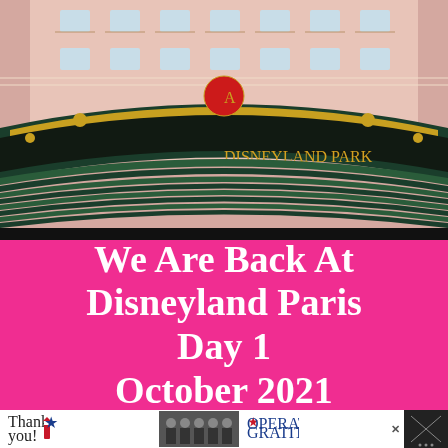[Figure (photo): Photograph of the Disneyland Park entrance sign at Disneyland Paris. The ornate arch-shaped signage reads 'DISNEYLAND PARK' in large gold letters on a dark green background. Above the sign is a pink hotel building facade with balconies. A red circular medallion with a gold 'A' is visible at the top center.]
We Are Back At Disneyland Paris Day 1 October 2021
[Figure (photo): Advertisement banner at the bottom. Shows 'Thank you!' handwritten text with a flag pencil graphic on the left, a photo of a group of people in work uniforms in front of a vehicle in the center, 'Operation Gratitude' logo with American flag star design in the middle-right, a close 'X' button, and crosshatch pattern on the far right.]